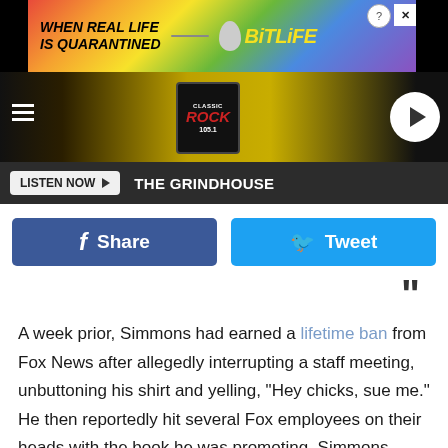[Figure (screenshot): BitLife advertisement banner with rainbow background and text 'WHEN REAL LIFE IS QUARANTINED' and BitLife logo]
[Figure (screenshot): Classic Rock 105.1 radio station banner with yellow/black grunge background, hamburger menu icon, logo, and play button]
LISTEN NOW ▶  THE GRINDHOUSE
[Figure (screenshot): Facebook Share button (blue) and Twitter Tweet button (light blue)]
”
A week prior, Simmons had earned a lifetime ban from Fox News after allegedly interrupting a staff meeting, unbuttoning his shirt and yelling, "Hey chicks, sue me." He then reportedly hit several Fox employees on their heads with the book he was promoting. Simmons apologized for his actions, but also said that the report was "highly exaggerated and misleading."